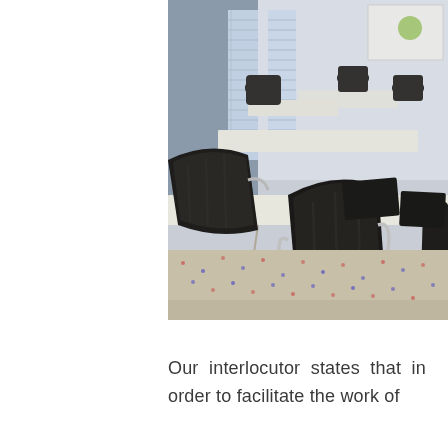[Figure (photo): A conference room with black leather office chairs on wheels arranged around white tables. A projector screen is visible in the upper right corner. The room has blue-grey walls, large windows with blinds, and a patterned carpet. Notepads and water bottles are on the tables.]
Our interlocutor states that in order to facilitate the work of